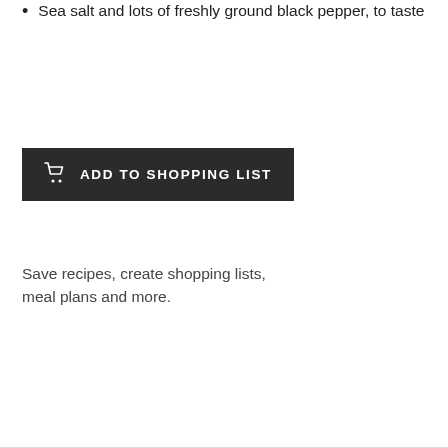Sea salt and lots of freshly ground black pepper, to taste
[Figure (other): Dark button with shopping cart icon labeled ADD TO SHOPPING LIST]
Save recipes, create shopping lists, meal plans and more.